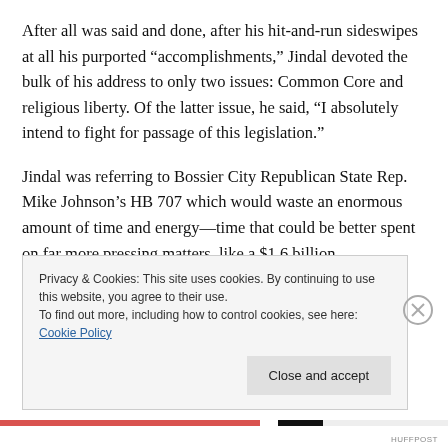After all was said and done, after his hit-and-run sideswipes at all his purported “accomplishments,” Jindal devoted the bulk of his address to only two issues: Common Core and religious liberty. Of the latter issue, he said, “I absolutely intend to fight for passage of this legislation.”
Jindal was referring to Bossier City Republican State Rep. Mike Johnson’s HB 707 which would waste an enormous amount of time and energy—time that could be better spent on far more pressing matters, like a $1.6 billion
Privacy & Cookies: This site uses cookies. By continuing to use this website, you agree to their use.
To find out more, including how to control cookies, see here: Cookie Policy